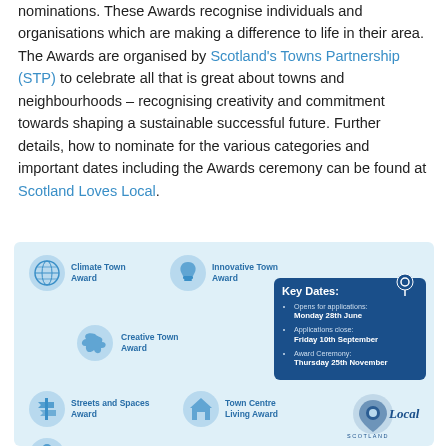nominations. These Awards recognise individuals and organisations which are making a difference to life in their area. The Awards are organised by Scotland's Towns Partnership (STP) to celebrate all that is great about towns and neighbourhoods – recognising creativity and commitment towards shaping a sustainable successful future. Further details, how to nominate for the various categories and important dates including the Awards ceremony can be found at Scotland Loves Local.
[Figure (infographic): Infographic showing Scotland Loves Local award categories: Climate Town Award, Innovative Town Award, Creative Town Award, Streets and Spaces Award, Town Centre Living Award, Place Leader Award. Key Dates box: Opens for applications Monday 28th June, Applications close Friday 10th September, Award Ceremony Thursday 25th November. Scotland Loves Local logo bottom right.]